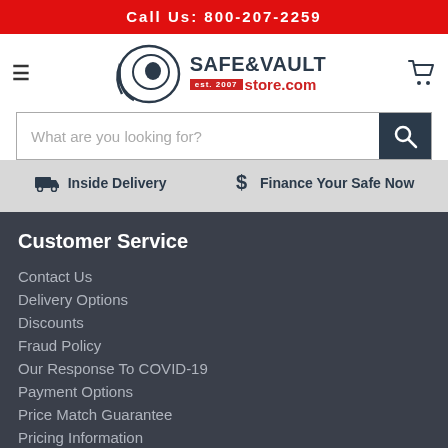Call Us: 800-207-2259
[Figure (logo): Safe & Vault Store.com logo with circular eye/lock graphic, est. 2007]
What are you looking for?
Inside Delivery   Finance Your Safe Now
Customer Service
Contact Us
Delivery Options
Discounts
Fraud Policy
Our Response To COVID-19
Payment Options
Price Match Guarantee
Pricing Information
Receiving Your Safe